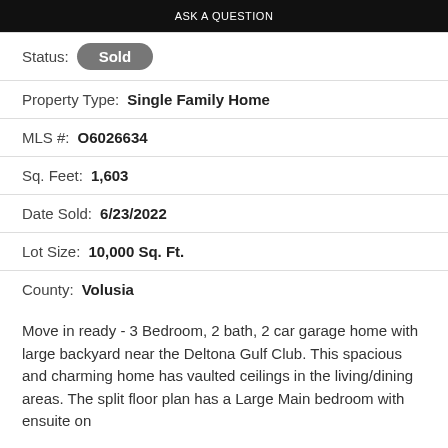[Figure (screenshot): Top banner with dark background and white text showing a button or link]
Status: Sold
Property Type: Single Family Home
MLS #: O6026634
Sq. Feet: 1,603
Date Sold: 6/23/2022
Lot Size: 10,000 Sq. Ft.
County: Volusia
Move in ready - 3 Bedroom, 2 bath, 2 car garage home with large backyard near the Deltona Gulf Club. This spacious and charming home has vaulted ceilings in the living/dining areas. The split floor plan has a Large Main bedroom with ensuite on